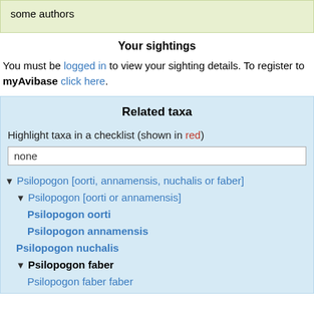some authors
Your sightings
You must be logged in to view your sighting details. To register to myAvibase click here.
Related taxa
Highlight taxa in a checklist (shown in red)
none
Psilopogon [oorti, annamensis, nuchalis or faber]
Psilopogon [oorti or annamensis]
Psilopogon oorti
Psilopogon annamensis
Psilopogon nuchalis
Psilopogon faber
Psilopogon faber faber